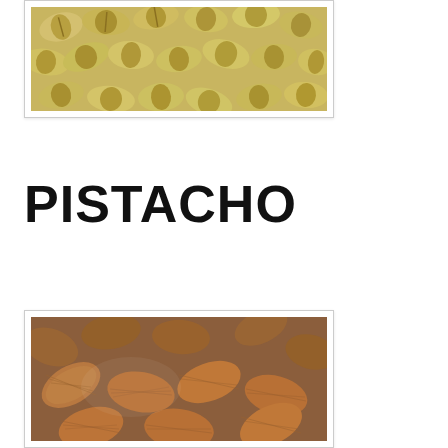[Figure (photo): Close-up photo of pistachio nuts in their shells, shown from above, yellowish-tan color]
PISTACHO
[Figure (photo): Close-up photo of shelled almond nuts, brown color, scattered pile, shallow depth of field]